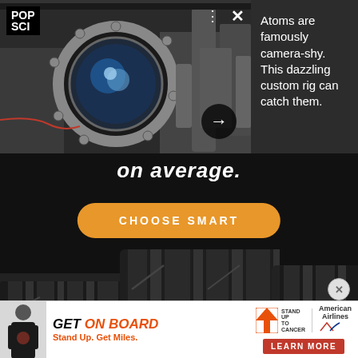[Figure (photo): Lab equipment photo showing a circular vacuum chamber viewport with bolts, laboratory machinery and optics visible behind it. Popular Science article card overlay.]
Atoms are famously camera-shy. This dazzling custom rig can catch them.
[Figure (photo): Tire advertisement showing close-up of car tires on black background with text 'on average.' and a 'CHOOSE SMART' orange button.]
on average.
CHOOSE SMART
[Figure (photo): Bottom banner advertisement: GET ON BOARD Stand Up. Get Miles. Stand Up To Cancer / American Airlines LEARN MORE]
GET ON BOARD Stand Up. Get Miles. LEARN MORE